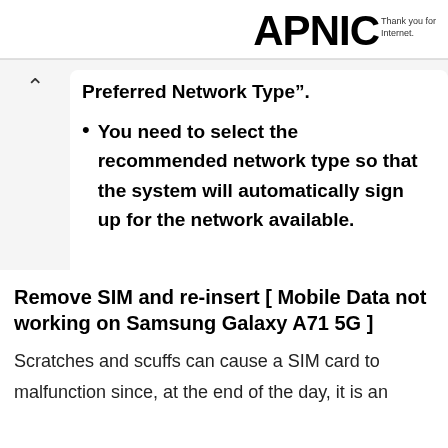APNIC Thank you for the Internet.
Preferred Network Type".
You need to select the recommended network type so that the system will automatically sign up for the network available.
Remove SIM and re-insert [ Mobile Data not working on Samsung Galaxy A71 5G ]
Scratches and scuffs can cause a SIM card to malfunction since, at the end of the day, it is an